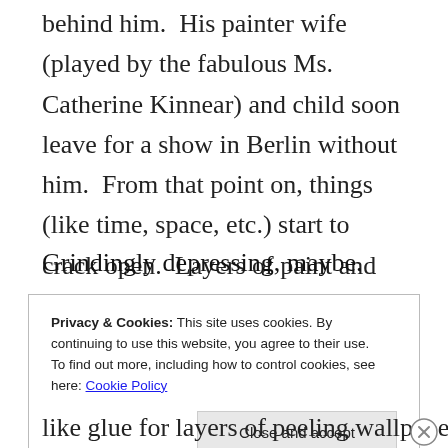behind him.  His painter wife (played by the fabulous Ms. Catherine Kinnear) and child soon leave for a show in Berlin without him.  From that point on, things (like time, space, etc.) start to crack open.  Layers of paint and facade peel off.  Hoffman’s character gets involved with a woman who buys a house that is literally on fire.  Etc.
Grindingly depressing, maybe.
Privacy & Cookies: This site uses cookies. By continuing to use this website, you agree to their use.
To find out more, including how to control cookies, see here: Cookie Policy
Close and accept
like glue for layers of peeling wallpaper that wants